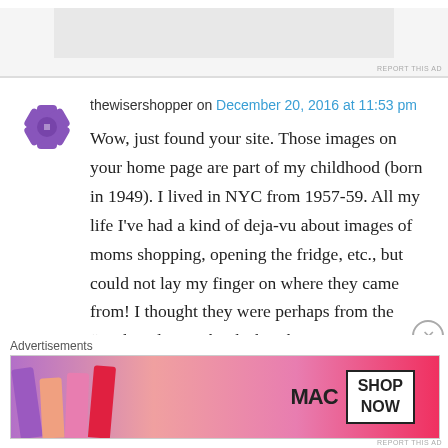[Figure (other): Gray advertisement banner placeholder at top of page with 'REPORT THIS AD' text in bottom right]
thewisershopper on December 20, 2016 at 11:53 pm
Wow, just found your site. Those images on your home page are part of my childhood (born in 1949). I lived in NYC from 1957-59. All my life I've had a kind of deja-vu about images of moms shopping, opening the fridge, etc., but could not lay my finger on where they came from! I thought they were perhaps from the “Dick and Jane” books but they weren’t. I recently started a food / political blog and searched for retro/vintage
Advertisements
[Figure (photo): MAC cosmetics advertisement banner showing lipsticks on left side and MAC SHOP NOW text on right]